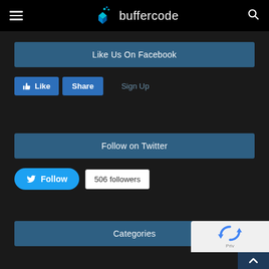buffercode
Like Us On Facebook
Like  Share  Sign Up
Follow on Twitter
Follow  506 followers
Categories
[Figure (other): reCAPTCHA widget and back-to-top button in bottom-right corner]